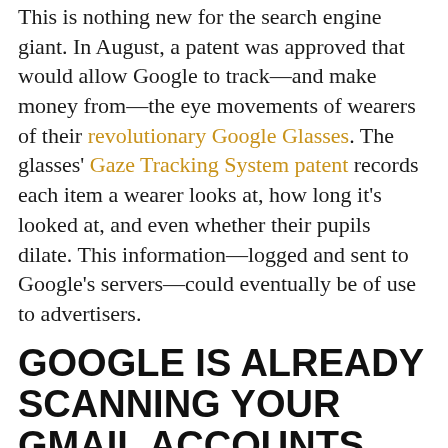This is nothing new for the search engine giant. In August, a patent was approved that would allow Google to track—and make money from—the eye movements of wearers of their revolutionary Google Glasses. The glasses' Gaze Tracking System patent records each item a wearer looks at, how long it's looked at, and even whether their pupils dilate. This information—logged and sent to Google's servers—could eventually be of use to advertisers.
GOOGLE IS ALREADY SCANNING YOUR GMAIL ACCOUNTS